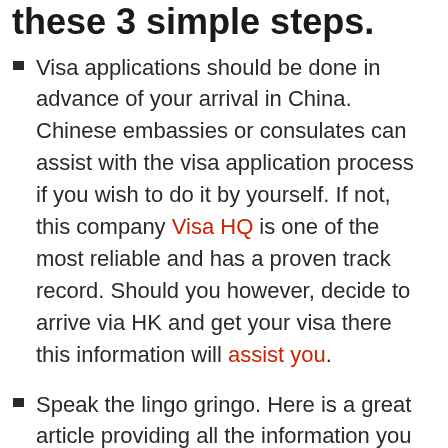these 3 simple steps.
Visa applications should be done in advance of your arrival in China. Chinese embassies or consulates can assist with the visa application process if you wish to do it by yourself. If not, this company Visa HQ is one of the most reliable and has a proven track record. Should you however, decide to arrive via HK and get your visa there this information will assist you.
Speak the lingo gringo. Here is a great article providing all the information you will need for avoiding common mistakes when attempting to learn Chinese